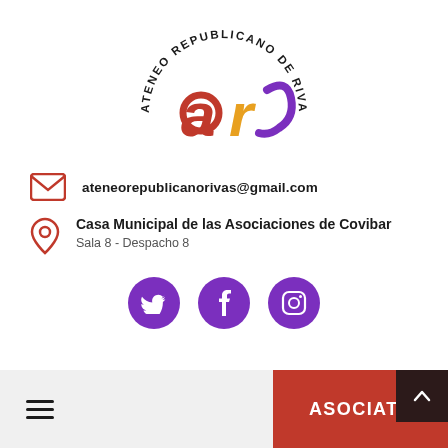[Figure (logo): Ateneo Republicano de Rivas logo — circular text 'ATENEO REPUBLICANO DE RIVAS' arching over stylized 'ar' letters in red and purple/yellow]
ateneorepublicanorivas@gmail.com
Casa Municipal de las Asociaciones de Covibar
Sala 8 - Despacho 8
[Figure (illustration): Three purple circular social media icons: Twitter bird, Facebook f, Instagram camera]
ASOCIATE